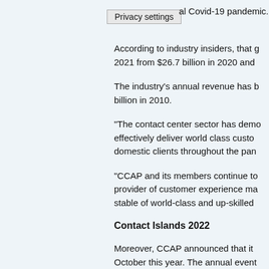Privacy settings al Covid-19 pandemic.
According to industry insiders, that g 2021 from $26.7 billion in 2020 and
The industry's annual revenue has b billion in 2010.
“The contact center sector has demo effectively deliver world class custo domestic clients throughout the pan
“CCAP and its members continue to provider of customer experience ma stable of world-class and up-skilled
Contact Islands 2022
Moreover, CCAP announced that it October this year. The annual event Spa in Boracay Island, will once aga sector’s direction and programs for